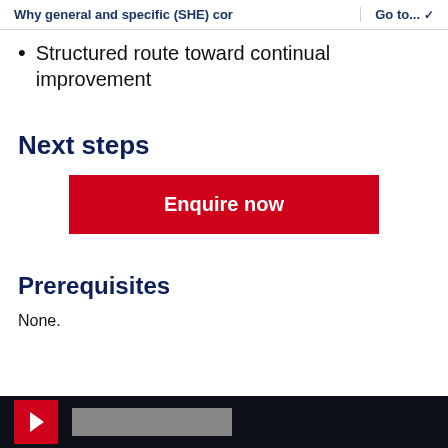Why general and specific (SHE) cor   Go to...
Structured route toward continual improvement
Next steps
[Figure (other): Red 'Enquire now' button]
Prerequisites
None.
Footer bar with red logo and search box